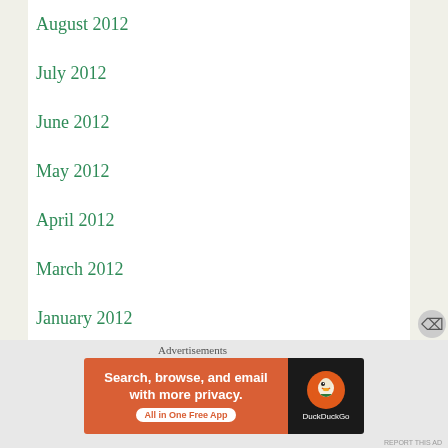August 2012
July 2012
June 2012
May 2012
April 2012
March 2012
January 2012
December 2011
Advertisements
[Figure (screenshot): DuckDuckGo advertisement banner: 'Search, browse, and email with more privacy. All in One Free App' with DuckDuckGo logo on dark background]